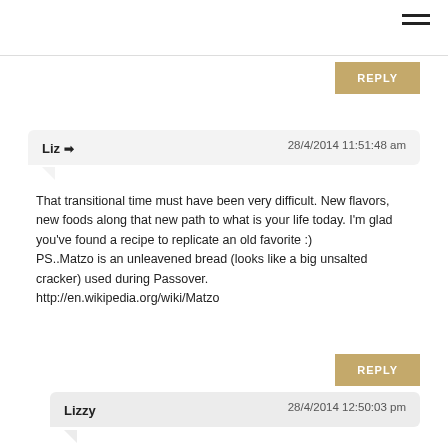[Figure (other): Hamburger menu icon (three horizontal lines) in top right corner]
REPLY
Liz ➜  28/4/2014 11:51:48 am
That transitional time must have been very difficult. New flavors, new foods along that new path to what is your life today. I'm glad you've found a recipe to replicate an old favorite :)
PS..Matzo is an unleavened bread (looks like a big unsalted cracker) used during Passover.
http://en.wikipedia.org/wiki/Matzo
REPLY
Lizzy  28/4/2014 12:50:03 pm
So true, Liz... and I'm a much happier person